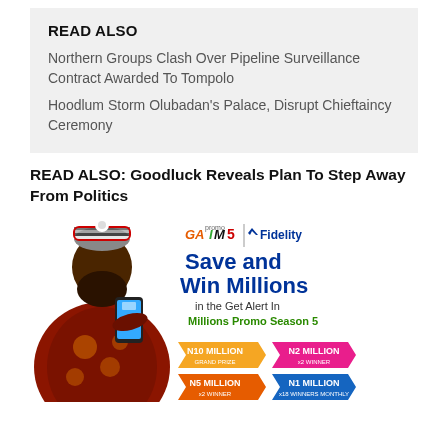READ ALSO
Northern Groups Clash Over Pipeline Surveillance Contract Awarded To Tompolo
Hoodlum Storm Olubadan's Palace, Disrupt Chieftaincy Ceremony
READ ALSO: Goodluck Reveals Plan To Step Away From Politics
[Figure (photo): Fidelity Bank GAIM Promo Season 5 advertisement featuring a man in African attire looking at his phone, with text 'Save and Win Millions in the Get Alert In Millions Promo Season 5' and prize amounts: N10 MILLION Grand Prize, N2 MILLION, N5 MILLION, N1 MILLION]